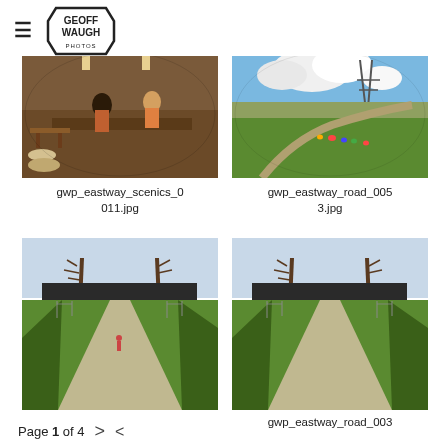GEOFF WAUGH PHOTOS
[Figure (photo): Indoor scene with people at a counter/buffet, fisheye lens, warm lighting]
gwp_eastway_scenics_0011.jpg
[Figure (photo): Cyclists on a road race track, fisheye lens, blue sky with clouds and power tower]
gwp_eastway_road_0053.jpg
[Figure (photo): Pathway with green grass and bare trees, outdoor park scene]
[Figure (photo): Similar pathway with green grass and bare trees, slightly different angle]
gwp_eastway_road_003
Page 1 of 4